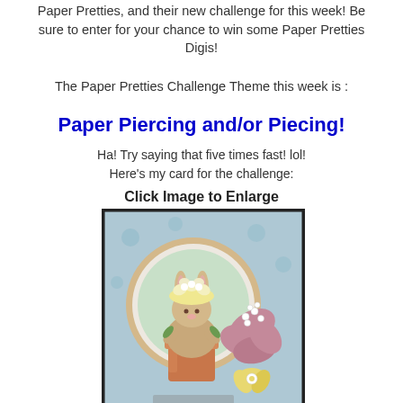Paper Pretties, and their new challenge for this week! Be sure to enter for your chance to win some Paper Pretties Digis!
The Paper Pretties Challenge Theme this week is :
Paper Piercing and/or Piecing!
Ha! Try saying that five times fast! lol!
Here's my card for the challenge:
Click Image to Enlarge
[Figure (photo): A handmade greeting card featuring a cute bunny character sitting in a terracotta flower pot, wearing a flower hat, surrounded by pink and yellow paper flowers on a light blue background with a scalloped circle frame.]